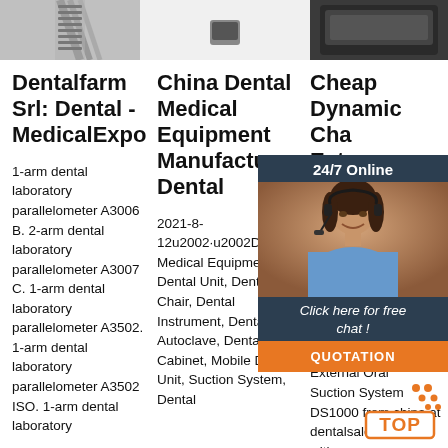[Figure (photo): Partial image of a dental instrument (screw/drill) on gray background, top left]
[Figure (photo): White/blank center top area]
[Figure (photo): Partial image of a dark dental chair or equipment, top right]
Dentalfarm Srl: Dental - MedicalExpo
China Dental Medical Equipment Manufacturer, Dental
Cheap Dynamic Cha Extr Aerc Suc Unit
1-arm dental laboratory parallelometer A3006 B. 2-arm dental laboratory parallelometer A3007 C. 1-arm dental laboratory parallelometer A3502. 1-arm dental laboratory parallelometer A3502 ISO. 1-arm dental laboratory
2021-8-12u2002·u2002Dental Medical Equipment, Dental Unit, Dental Chair, Dental Instrument, Dental Autoclave, Dental Cabinet, Mobile Dental Unit, Suction System, Dental
2021-7-9u2002 eap Dy Extrao Suction Unit External Oral Suction System DS1000 from china at dentalsalemall.co m with
[Figure (photo): Chat widget overlay: 24/7 Online header, woman with headset photo, Click here for free chat!, QUOTATION button]
[Figure (infographic): TOP button with orange dots decoration, bottom right]